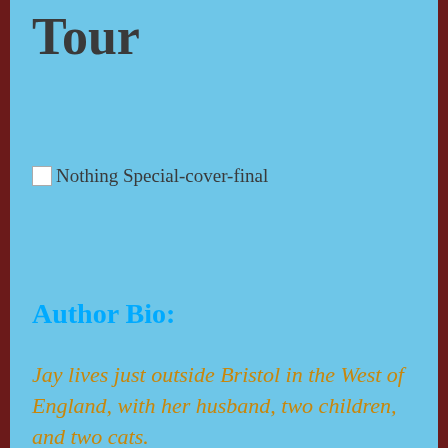Tour
[Figure (photo): Broken image placeholder labeled 'Nothing Special-cover-final']
Author Bio:
Jay lives just outside Bristol in the West of England, with her husband, two children, and two cats.